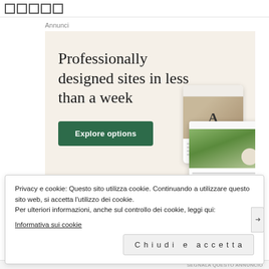[Figure (screenshot): Top browser bar with five small square checkbox icons]
Annunci
[Figure (screenshot): Advertisement banner with beige background. Headline: 'Professionally designed sites in less than a week'. Green 'Explore options' button. Right side shows mock website screenshots including a food site and an app icon with letter A.]
Privacy e cookie: Questo sito utilizza cookie. Continuando a utilizzare questo sito web, si accetta l’utilizzo dei cookie.
Per ulteriori informazioni, anche sul controllo dei cookie, leggi qui:
Informativa sui cookie
Chiudi e accetta